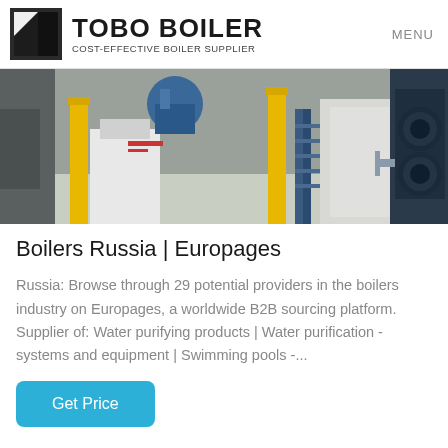TOBO BOILER — COST-EFFECTIVE BOILER SUPPLIER | MENU
[Figure (photo): Industrial boiler facility interior with yellow support columns, white equipment units, blue metalwork staircase, and large blue cylindrical boiler components visible on the right.]
Boilers Russia | Europages
Russia: Browse through 29 potential providers in the boilers industry on Europages, a worldwide B2B sourcing platform. Supplier of: Water purifying products | Water purification - systems and equipment | Swimming pools -...
Get Price